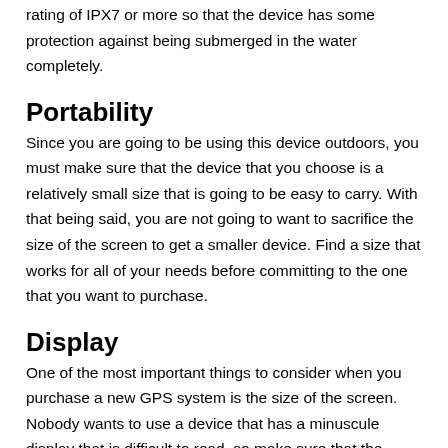rating of IPX7 or more so that the device has some protection against being submerged in the water completely.
Portability
Since you are going to be using this device outdoors, you must make sure that the device that you choose is a relatively small size that is going to be easy to carry. With that being said, you are not going to want to sacrifice the size of the screen to get a smaller device. Find a size that works for all of your needs before committing to the one that you want to purchase.
Display
One of the most important things to consider when you purchase a new GPS system is the size of the screen. Nobody wants to use a device that has a minuscule display that is difficult to read, so make sure that the resolution is